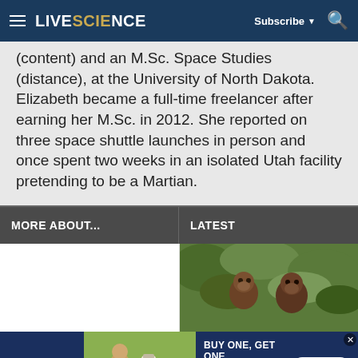LIVESCIENCE — Subscribe ▼ 🔍
(content) and an M.Sc. Space Studies (distance), at the University of North Dakota. Elizabeth became a full-time freelancer after earning her M.Sc. in 2012. She reported on three space shuttle launches in person and once spent two weeks in an isolated Utah facility pretending to be a Martian.
MORE ABOUT...
LATEST
[Figure (photo): Photo of monkeys in green foliage]
[Figure (photo): Petco advertisement: BUY ONE, GET ONE 50% OFF — Help support your dog's joints with a premium supplement. SHOP NOW. Image shows woman with golden retriever dog and supplement bottle.]